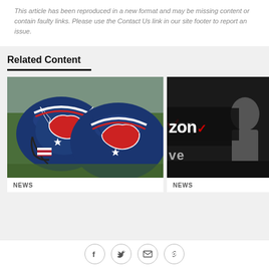This article has been reproduced in a new format and may be missing content or contain faulty links. Please use the Contact Us link in our site footer to report an issue.
Related Content
[Figure (photo): Two Houston Texans football helmets with the bull logo and red/white/blue colors on a grass field]
NEWS
[Figure (photo): Person in front of a Verizon branded backdrop at what appears to be a press event]
NEWS
Social share icons: Facebook, Twitter, Email, Link